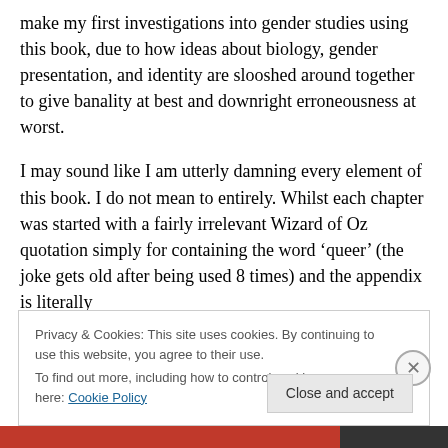make my first investigations into gender studies using this book, due to how ideas about biology, gender presentation, and identity are slooshed around together to give banality at best and downright erroneousness at worst.
I may sound like I am utterly damning every element of this book. I do not mean to entirely. Whilst each chapter was started with a fairly irrelevant Wizard of Oz quotation simply for containing the word ‘queer’ (the joke gets old after being used 8 times) and the appendix is literally
Privacy & Cookies: This site uses cookies. By continuing to use this website, you agree to their use.
To find out more, including how to control cookies, see here: Cookie Policy